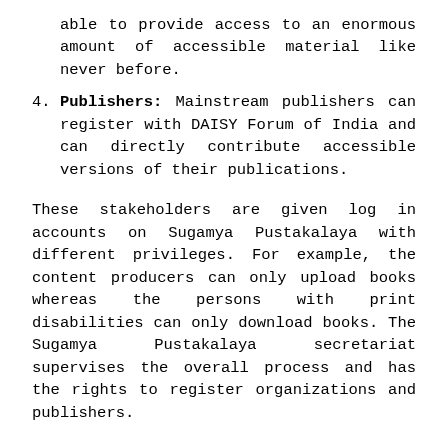(continuation) able to provide access to an enormous amount of accessible material like never before.
4. Publishers: Mainstream publishers can register with DAISY Forum of India and can directly contribute accessible versions of their publications.
These stakeholders are given log in accounts on Sugamya Pustakalaya with different privileges. For example, the content producers can only upload books whereas the persons with print disabilities can only download books. The Sugamya Pustakalaya secretariat supervises the overall process and has the rights to register organizations and publishers.